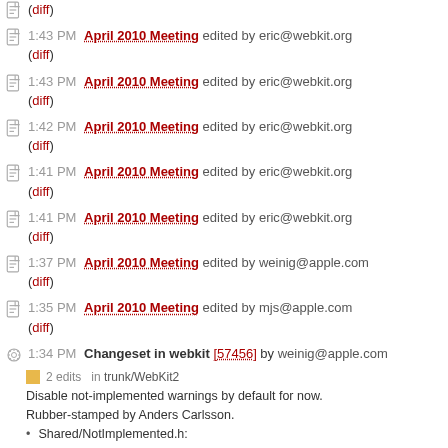(diff) — top partial entry
1:43 PM April 2010 Meeting edited by eric@webkit.org (diff)
1:43 PM April 2010 Meeting edited by eric@webkit.org (diff)
1:42 PM April 2010 Meeting edited by eric@webkit.org (diff)
1:41 PM April 2010 Meeting edited by eric@webkit.org (diff)
1:41 PM April 2010 Meeting edited by eric@webkit.org (diff)
1:37 PM April 2010 Meeting edited by weinig@apple.com (diff)
1:35 PM April 2010 Meeting edited by mjs@apple.com (diff)
1:34 PM Changeset in webkit [57456] by weinig@apple.com — 2 edits in trunk/WebKit2. Disable not-implemented warnings by default for now. Rubber-stamped by Anders Carlsson. Shared/NotImplemented.h: